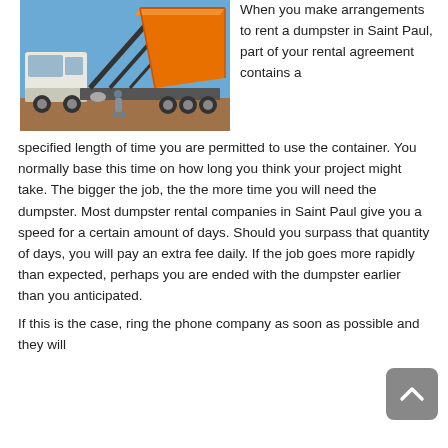[Figure (photo): A large white semi-truck with an orange dumpster/roll-off container being tilted/unloaded, with a worker standing nearby on a dirt surface against a blue sky.]
When you make arrangements to rent a dumpster in Saint Paul, part of your rental agreement contains a specified length of time you are permitted to use the container. You normally base this time on how long you think your project might take. The bigger the job, the the more time you will need the dumpster. Most dumpster rental companies in Saint Paul give you a speed for a certain amount of days. Should you surpass that quantity of days, you will pay an extra fee daily. If the job goes more rapidly than expected, perhaps you are ended with the dumpster earlier than you anticipated.
If this is the case, ring the phone company as soon as possible and they will